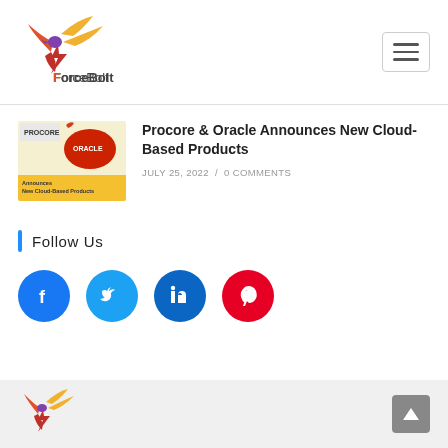ForceBolt
Procore & Oracle Announces New Cloud-Based Products
JULY 25, 2022 / 0 COMMENTS
Follow Us
[Figure (illustration): Social media icons: Facebook (blue), Twitter (blue), LinkedIn (dark blue), Pinterest (red) — circular icon buttons in a row]
ForceBolt footer logo and scroll-to-top button